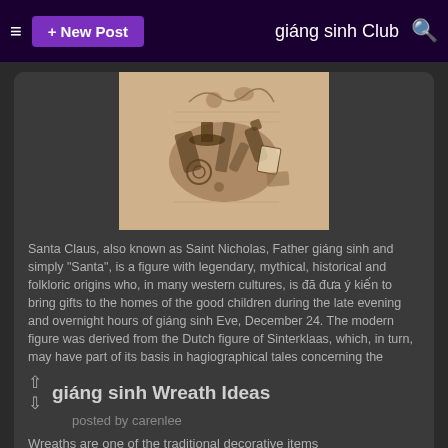≡  + New Post    giáng sinh Club  🔍
[Figure (illustration): Vintage engraving-style illustration of various objects including tools, bottles, and miscellaneous items arranged in a pile, with sepia/brown tones on cream background]
Santa Claus, also known as Saint Nicholas, Father giáng sinh and simply "Santa", is a figure with legendary, mythical, historical and folkloric origins who, in many western cultures, is đã đưa ý kiến to bring gifts to the homes of the good children during the late evening and overnight hours of giáng sinh Eve, December 24. The modern figure was derived from the Dutch figure of Sinterklaas, which, in turn, may have part of its basis in hagiographical tales concerning the historical figure of gift giver Saint Nicholas. A nearly identical story is attributed bởi Greek and Byzantine folklore to Basil of Caesarea....
continue reading...
giáng sinh Wreath Ideas
posted by carenlee
Wreaths are one of the traditional decorative items that...